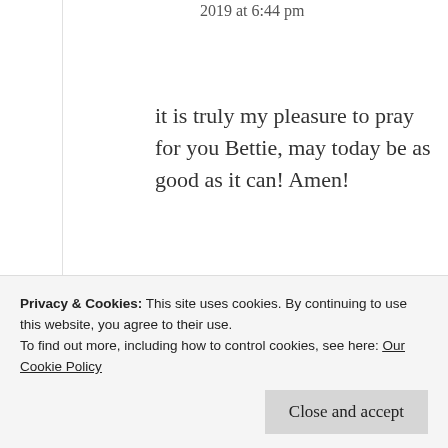2019 at 6:44 pm
it is truly my pleasure to pray for you Bettie, may today be as good as it can! Amen!
★ Like
↳ Reply
Privacy & Cookies: This site uses cookies. By continuing to use this website, you agree to their use.
To find out more, including how to control cookies, see here: Our Cookie Policy
Close and accept